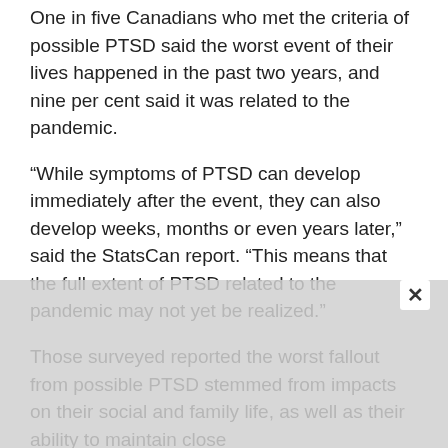One in five Canadians who met the criteria of possible PTSD said the worst event of their lives happened in the past two years, and nine per cent said it was related to the pandemic.
“While symptoms of PTSD can develop immediately after the event, they can also develop weeks, months or even years later,” said the StatsCan report. “This means that the full extent of PTSD related to the pandemic may not yet be realized.”
Those surveyed reported the worst fallout from possible PTSD stemmed from impacts on their social and family life, as well as their ability to maintain close relationships. More than half of those surveyed...